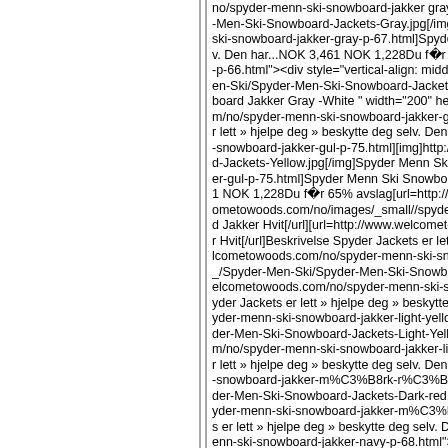Truncated/clipped web content listing Spyder Men Ski Snowboard Jakker products with URLs, image tags, prices (NOK 3,461 / NOK 1,228), discount info (65% avslag), and Norwegian product descriptions.